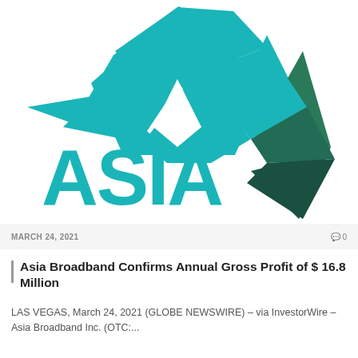[Figure (logo): Asia Broadband Inc. logo: teal/turquoise stylized star shape above the word ASIA in large teal letters]
MARCH 24, 2021   0
Asia Broadband Confirms Annual Gross Profit of $ 16.8 Million
LAS VEGAS, March 24, 2021 (GLOBE NEWSWIRE) – via InvestorWire – Asia Broadband Inc. (OTC:...